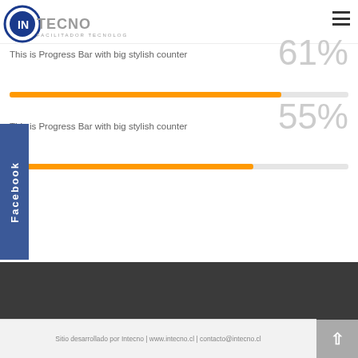[Figure (logo): Intecno logo - circle with IN text and INTECNO FACILITADOR TECNOLOGICO text]
This is Progress Bar with big stylish counter
61%
[Figure (bar-chart): Progress bar 61%]
This is Progress Bar with big stylish counter
55%
[Figure (bar-chart): Progress bar 55%]
Facebook
Sitio desarrollado por Intecno | www.intecno.cl | contacto@intecno.cl